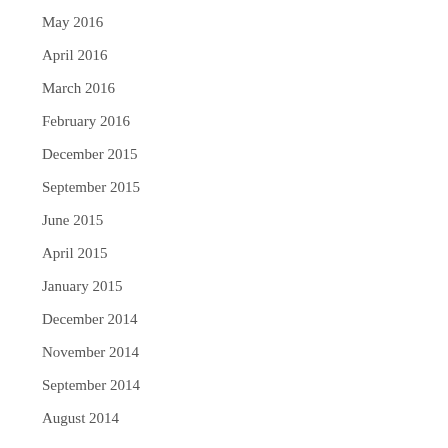June 2016
May 2016
April 2016
March 2016
February 2016
December 2015
September 2015
June 2015
April 2015
January 2015
December 2014
November 2014
September 2014
August 2014